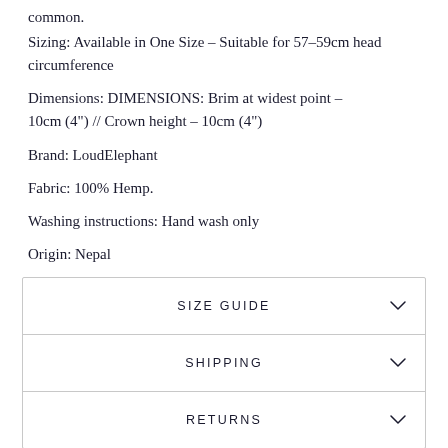common.
Sizing: Available in One Size - Suitable for 57-59cm head circumference
Dimensions: DIMENSIONS: Brim at widest point - 10cm (4") // Crown height - 10cm (4")
Brand: LoudElephant
Fabric: 100% Hemp.
Washing instructions: Hand wash only
Origin: Nepal
SIZE GUIDE
SHIPPING
RETURNS